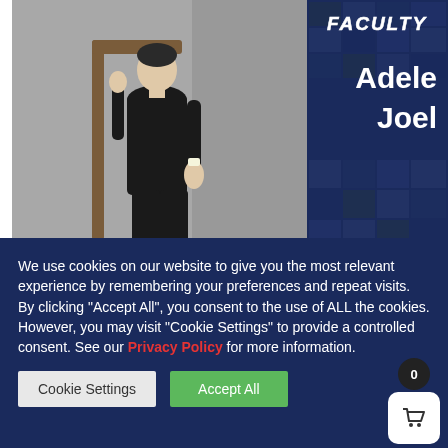[Figure (photo): Person dressed in black sitting on a wooden chair with brown leather shoes, posed against a grey background. Left panel of a faculty promotional image.]
[Figure (infographic): Dark navy blue panel with collage of small portrait photos in background. Text reads 'FACULTY' in white italic bold, then 'Adele Joel' in large bold white text, and website 'tapdancefestival.uk' at bottom in italic white.]
[Figure (photo): Partially visible second row of faculty photos showing a person with grey hair on the left and a red element on the right.]
We use cookies on our website to give you the most relevant experience by remembering your preferences and repeat visits. By clicking “Accept All”, you consent to the use of ALL the cookies. However, you may visit “Cookie Settings” to provide a controlled consent. See our Privacy Policy for more information.
Cookie Settings
Accept All